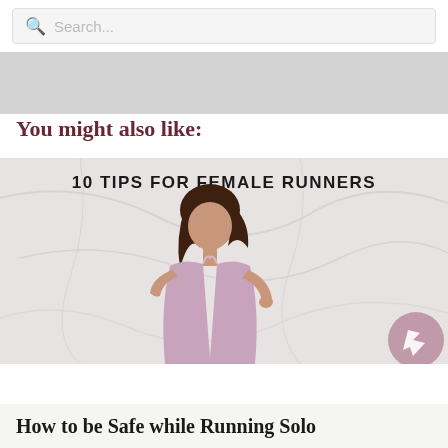Search...
You might also like:
[Figure (photo): Woman running in pink athletic tank top against marble background with text '10 TIPS FOR FEMALE RUNNERS']
How to be Safe while Running Solo